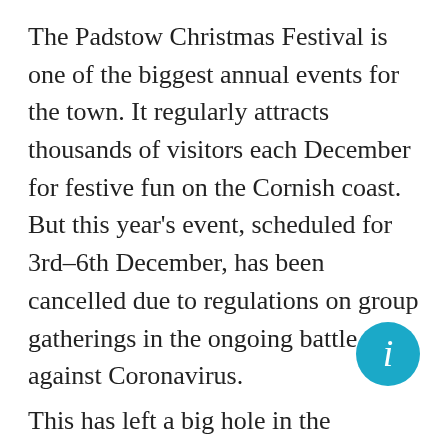The Padstow Christmas Festival is one of the biggest annual events for the town. It regularly attracts thousands of visitors each December for festive fun on the Cornish coast. But this year's event, scheduled for 3rd–6th December, has been cancelled due to regulations on group gatherings in the ongoing battle against Coronavirus.
This has left a big hole in the